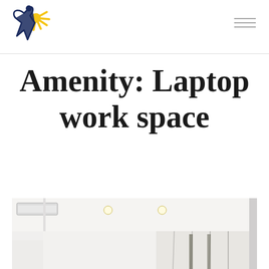[Figure (logo): Star/person logo with yellow sun rays and dark blue/black figure, stylized hand-drawn look]
Amenity: Laptop work space
[Figure (photo): Interior room photo showing white ceiling with recessed lighting, air conditioning unit on wall, white walls and curtains in background]